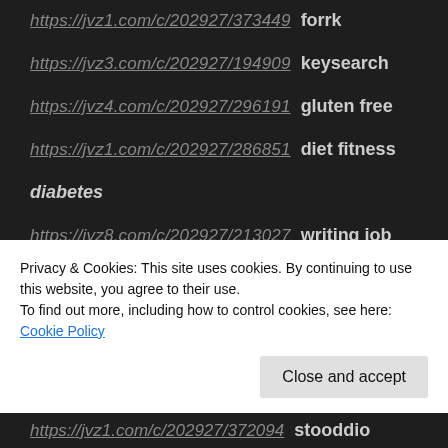https://jvz1.com/c/202927/373449  forrk
https://jvz3.com/c/202927/194909  keysearch
https://jvz4.com/c/202927/296191  gluten free
https://jvz1.com/c/202927/286851  diet fitness diabetes
https://jvz8.com/c/202927/213027  writing job
Privacy & Cookies: This site uses cookies. By continuing to use this website, you agree to their use.
To find out more, including how to control cookies, see here:
Cookie Policy
Close and accept
https://jvz1.com/c/202927/372094  stooddio